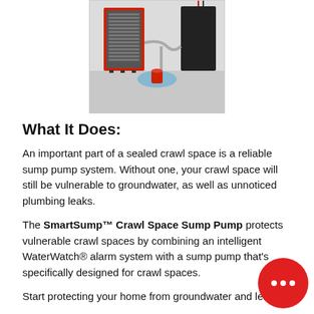[Figure (photo): Photo of a SmartSump crawl space sump pump system showing a red and grey unit with a black panel, connected by tubing, with a small red cylindrical sensor in a blue dish on a white surface.]
What It Does:
An important part of a sealed crawl space is a reliable sump pump system. Without one, your crawl space will still be vulnerable to groundwater, as well as unnoticed plumbing leaks.
The SmartSump™ Crawl Space Sump Pump protects vulnerable crawl spaces by combining an intelligent WaterWatch® alarm system with a sump pump that's specifically designed for crawl spaces.
Start protecting your home from groundwater and lea…